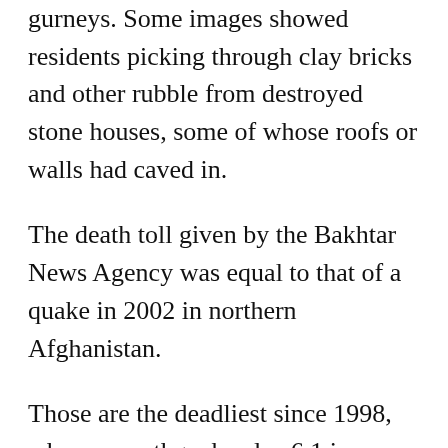gurneys. Some images showed residents picking through clay bricks and other rubble from destroyed stone houses, some of whose roofs or walls had caved in.
The death toll given by the Bakhtar News Agency was equal to that of a quake in 2002 in northern Afghanistan.
Those are the deadliest since 1998, when an earthquake also 6.1 in magnitude and subsequent tremors in the remote northeast killed at least 4,500 people.
In most places in the world, an earthquake of